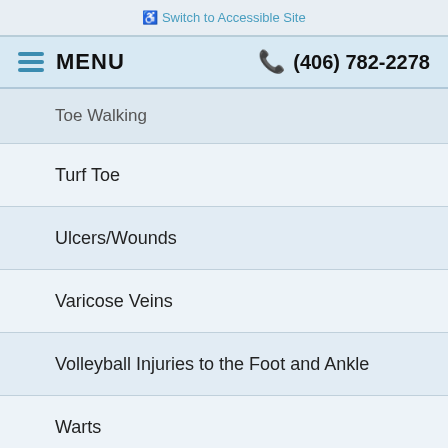♿ Switch to Accessible Site
☰ MENU   ☎ (406) 782-2278
Toe Walking
Turf Toe
Ulcers/Wounds
Varicose Veins
Volleyball Injuries to the Foot and Ankle
Warts
Weak Ankles
Webbed Toes
White Toenails
Wounds/Ulcers